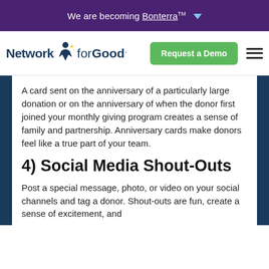We are becoming Bonterra™
[Figure (logo): Network for Good logo with stylized person figure]
Request a Demo
A card sent on the anniversary of a particularly large donation or on the anniversary of when the donor first joined your monthly giving program creates a sense of family and partnership. Anniversary cards make donors feel like a true part of your team.
4) Social Media Shout-Outs
Post a special message, photo, or video on your social channels and tag a donor. Shout-outs are fun, create a sense of excitement, and